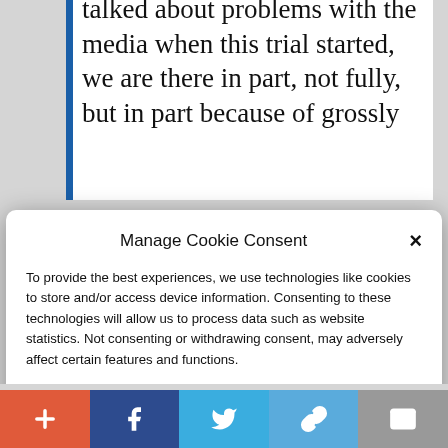talked about problems with the media when this trial started, we are there in part, not fully, but in part because of grossly
Manage Cookie Consent
To provide the best experiences, we use technologies like cookies to store and/or access device information. Consenting to these technologies will allow us to process data such as website statistics. Not consenting or withdrawing consent, may adversely affect certain features and functions.
Accept
Cookie Policy   Privacy Policy
what's being done, is really quite frightening